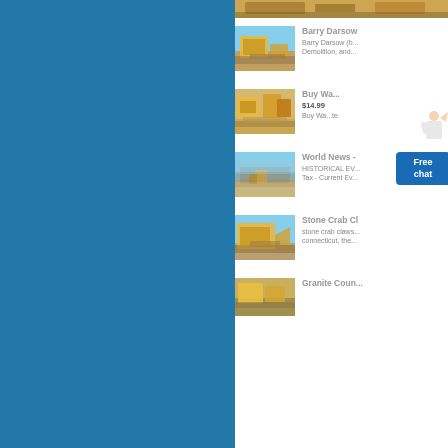[Figure (photo): Yellow quarry/mining heavy equipment machinery at a construction site - top partial entry]
Barry Darsow
Barry Darsow (b... Demolition, and...
[Figure (photo): Yellow quarry/mining heavy equipment machinery at a desert construction site]
Buy Wa...
$14.99
Buy Wa...te
[Figure (photo): Aerial view of quarry/mining operation with mountains in background]
World News -
HISTORICAL EV... Tax - Current Ev...
[Figure (photo): Yellow quarry/mining heavy equipment machinery at construction site]
Stone Crab Cl
stone crab claws... connecticut, the...
[Figure (photo): Partial view of quarry/mining machinery at bottom of page - Granite Coun...]